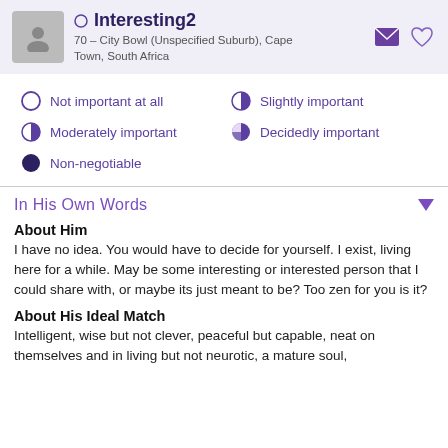Interesting2 – 70 – City Bowl (Unspecified Suburb), Cape Town, South Africa
Not important at all
Slightly important
Moderately important
Decidedly important
Non-negotiable
In His Own Words
About Him
I have no idea. You would have to decide for yourself. I exist, living here for a while. May be some interesting or interested person that I could share with, or maybe its just meant to be? Too zen for you is it?
About His Ideal Match
Intelligent, wise but not clever, peaceful but capable, neat on themselves and in living but not neurotic, a mature soul,